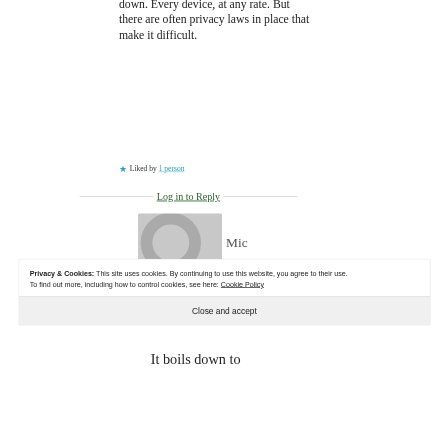down. Every device, at any rate. But there are often privacy laws in place that make it difficult.
★ Liked by 1 person
Log in to Reply
[Figure (illustration): User avatar placeholder - grey circle silhouette on grey background, partially visible with 'Mic' text]
Privacy & Cookies: This site uses cookies. By continuing to use this website, you agree to their use.
To find out more, including how to control cookies, see here: Cookie Policy
Close and accept
It boils down to